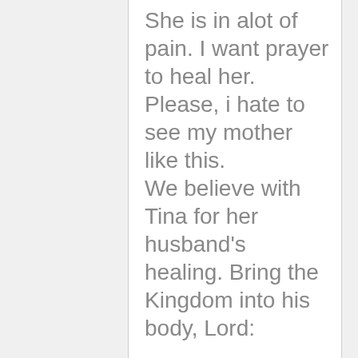She is in alot of pain. I want prayer to heal her. Please, i hate to see my mother like this. We believe with Tina for her husband's healing. Bring the Kingdom into his body, Lord: